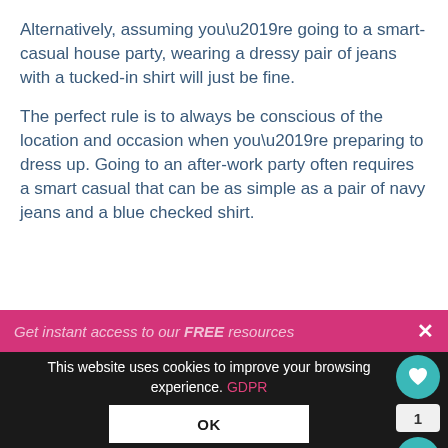Alternatively, assuming you’re going to a smart-casual house party, wearing a dressy pair of jeans with a tucked-in shirt will just be fine.
The perfect rule is to always be conscious of the location and occasion when you’re preparing to dress up. Going to an after-work party often requires a smart casual that can be as simple as a pair of navy jeans and a blue checked shirt.
[Figure (screenshot): Pink banner partially visible with text 'Get instant access to our FREE resources' and a close (X) button on the right.]
This website uses cookies to improve your browsing experience. GDPR
OK